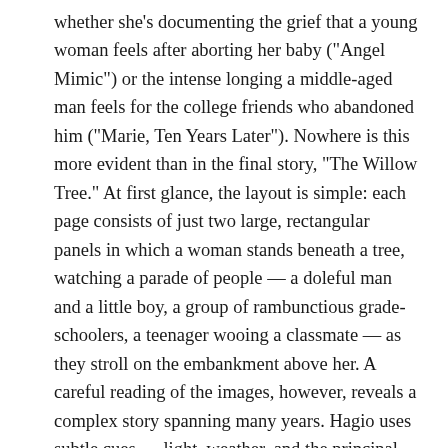whether she's documenting the grief that a young woman feels after aborting her baby ("Angel Mimic") or the intense longing a middle-aged man feels for the college friends who abandoned him ("Marie, Ten Years Later"). Nowhere is this more evident than in the final story, "The Willow Tree." At first glance, the layout is simple: each page consists of just two large, rectangular panels in which a woman stands beneath a tree, watching a parade of people — a doleful man and a little boy, a group of rambunctious grade-schoolers, a teenager wooing a classmate — as they stroll on the embankment above her. A careful reading of the images, however, reveals a complex story spanning many years. Hagio uses subtle cues — light, weather, and the principal character's body language — to suggest the woman's relationship to the people who walk past the tree. The last ten panels are beautifully executed; though the woman never utters a word, her face suddenly registers